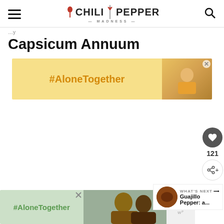Chili Pepper Madness
Capsicum Annuum
[Figure (screenshot): #AloneTogether advertisement banner with yellow background and person image]
[Figure (infographic): Like button showing heart icon with 121 likes and share button]
[Figure (screenshot): What's Next panel showing Guajillo Pepper article thumbnail]
[Figure (screenshot): #AloneTogether advertisement banner at bottom with green background and people image]